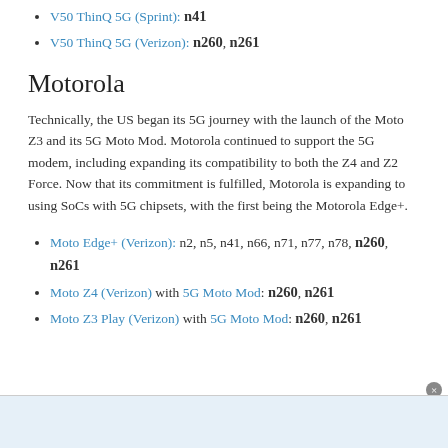V50 ThinQ 5G (Sprint): n41
V50 ThinQ 5G (Verizon): n260, n261
Motorola
Technically, the US began its 5G journey with the launch of the Moto Z3 and its 5G Moto Mod. Motorola continued to support the 5G modem, including expanding its compatibility to both the Z4 and Z2 Force. Now that its commitment is fulfilled, Motorola is expanding to using SoCs with 5G chipsets, with the first being the Motorola Edge+.
Moto Edge+ (Verizon): n2, n5, n41, n66, n71, n77, n78, n260, n261
Moto Z4 (Verizon) with 5G Moto Mod: n260, n261
Moto Z3 Play (Verizon) with 5G Moto Mod: n260, n261